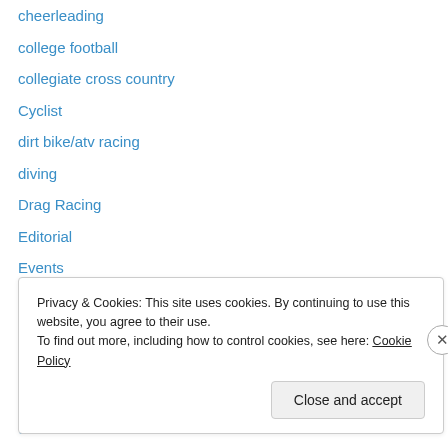cheerleading
college football
collegiate cross country
Cyclist
dirt bike/atv racing
diving
Drag Racing
Editorial
Events
fishing
football
Former Waiakea High Teacher
Fully Automated Timing
golf
Privacy & Cookies: This site uses cookies. By continuing to use this website, you agree to their use.
To find out more, including how to control cookies, see here: Cookie Policy
Close and accept